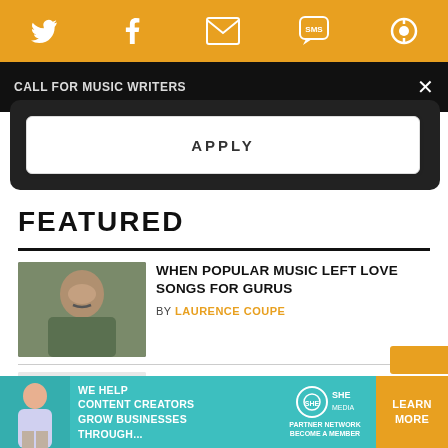[Figure (screenshot): Orange social sharing bar with Twitter, Facebook, Email, SMS, and rotate icons in white]
Call for Music Writers
APPLY
FEATURED
WHEN POPULAR MUSIC LEFT LOVE SONGS FOR GURUS
BY LAURENCE COUPE
PUNK LITERATURE 101: RECOMMENDED READINGS
BY IAIN ELLIS
[Figure (photo): Close-up photo of a man with curly hair and mustache]
[Figure (photo): Photo of an older bald man holding a book]
[Figure (other): SHE Partner Network advertisement banner: WE HELP CONTENT CREATORS GROW BUSINESSES THROUGH... LEARN MORE]